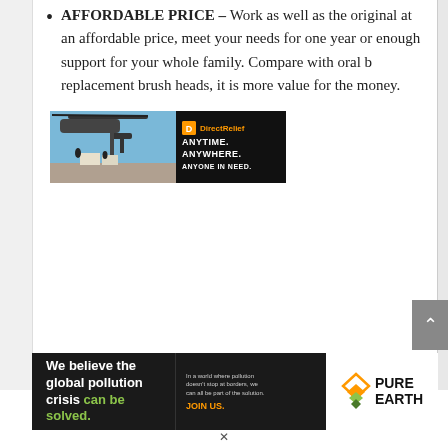AFFORDABLE PRICE – Work as well as the original at an affordable price, meet your needs for one year or enough support for your whole family. Compare with oral b replacement brush heads, it is more value for the money.
[Figure (photo): Direct Relief advertisement banner showing a helicopter loading scene on left and black panel with 'DirectRelief ANYTIME. ANYWHERE. ANYONE IN NEED.' text on right]
[Figure (infographic): Pure Earth advertisement banner with black background reading 'We believe the global pollution crisis can be solved.' with 'JOIN US.' call to action and Pure Earth diamond logo on white background on right]